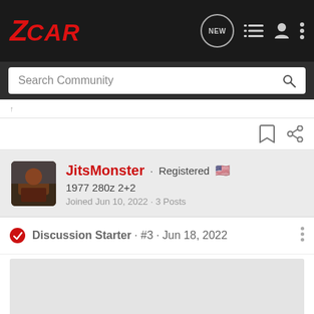ZCAR · NEW · Search Community
JitsMonster · Registered
1977 280z 2+2
Joined Jun 10, 2022 · 3 Posts
Discussion Starter · #3 · Jun 18, 2022
[Figure (photo): Embedded image placeholder (light gray rectangle) in forum post by JitsMonster]